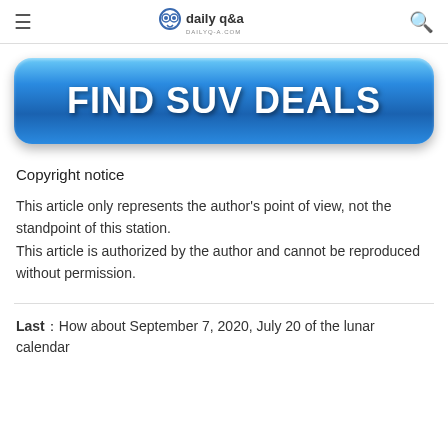daily q&a — DAILYQ-A.COM
[Figure (other): Blue glossy button with text FIND SUV DEALS]
Copyright notice
This article only represents the author's point of view, not the standpoint of this station.
This article is authorized by the author and cannot be reproduced without permission.
Last：How about September 7, 2020, July 20 of the lunar calendar